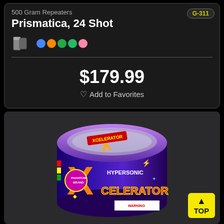500 Gram Repeaters
G-311
Prismatica, 24 Shot
$179.99
Add to Favorites
[Figure (photo): Fireworks product box labeled 'Hypersonic Xcelerator' with colorful Phantom Brand packaging, purple, blue, orange and red design with large X logo, on dark background. Yellow 'TOP' button visible in bottom right corner.]